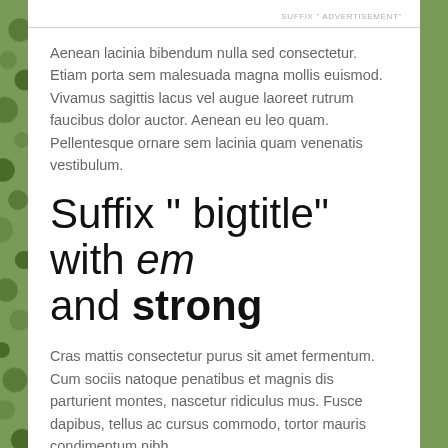SUFFIX " ADVERTISEMENT"
Aenean lacinia bibendum nulla sed consectetur. Etiam porta sem malesuada magna mollis euismod. Vivamus sagittis lacus vel augue laoreet rutrum faucibus dolor auctor. Aenean eu leo quam. Pellentesque ornare sem lacinia quam venenatis vestibulum.
Suffix " bigtitle" with em and strong
Cras mattis consectetur purus sit amet fermentum. Cum sociis natoque penatibus et magnis dis parturient montes, nascetur ridiculus mus. Fusce dapibus, tellus ac cursus commodo, tortor mauris condimentum nibh,